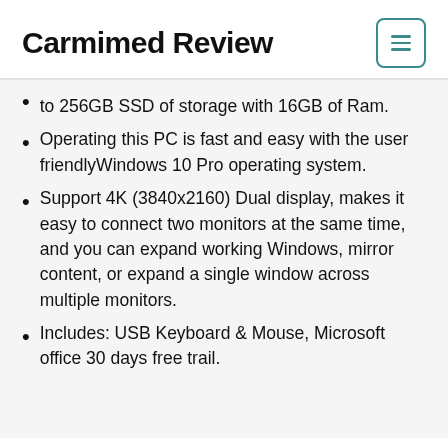Carmimed Review
to 256GB SSD of storage with 16GB of Ram.
Operating this PC is fast and easy with the user friendlyWindows 10 Pro operating system.
Support 4K (3840x2160) Dual display, makes it easy to connect two monitors at the same time, and you can expand working Windows, mirror content, or expand a single window across multiple monitors.
Includes: USB Keyboard & Mouse, Microsoft office 30 days free trail.